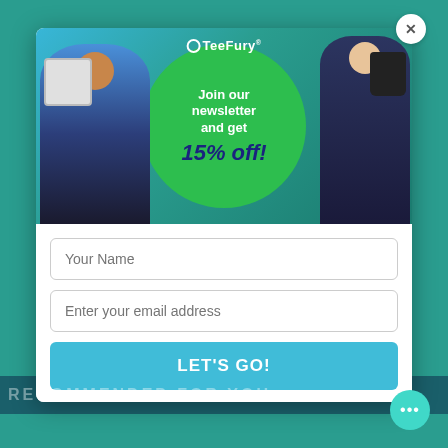[Figure (screenshot): TeeFury newsletter popup modal over a teal e-commerce website background. The modal contains a promotional banner image showing two people wearing/holding branded merchandise with the text 'Join our newsletter and get 15% off!', followed by a 'Your Name' input field, an 'Enter your email address' input field, and a 'LET'S GO!' button in teal. A close (X) button is in the top-right corner of the modal. A chat bubble icon is visible at the bottom-right. The background shows a teal website with 'RECOMMENDED FOR YOU' text at the bottom.]